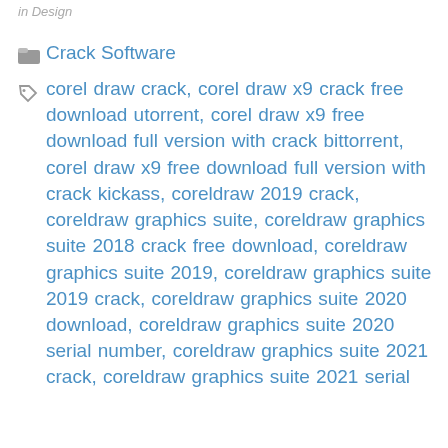in Design
Crack Software
corel draw crack, corel draw x9 crack free download utorrent, corel draw x9 free download full version with crack bittorrent, corel draw x9 free download full version with crack kickass, coreldraw 2019 crack, coreldraw graphics suite, coreldraw graphics suite 2018 crack free download, coreldraw graphics suite 2019, coreldraw graphics suite 2019 crack, coreldraw graphics suite 2020 download, coreldraw graphics suite 2020 serial number, coreldraw graphics suite 2021 crack, coreldraw graphics suite 2021 serial